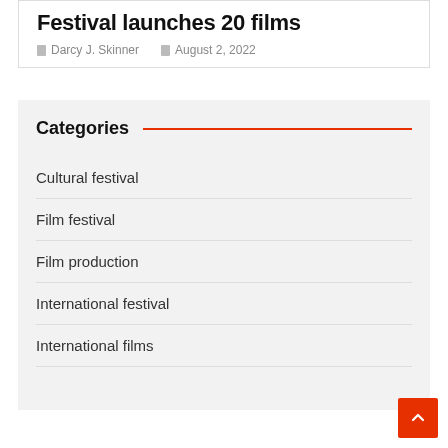Festival launches 20 films
Darcy J. Skinner   August 2, 2022
Categories
Cultural festival
Film festival
Film production
International festival
International films